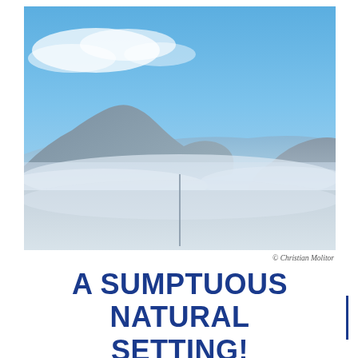[Figure (photo): Landscape photograph of misty mountains under a blue sky with sparse clouds. Mountain peaks are partially obscured by fog/mist. A thin vertical structure (pole or mast) is visible in the lower center of the image.]
© Christian Molitor
A SUMPTUOUS NATURAL SETTING!